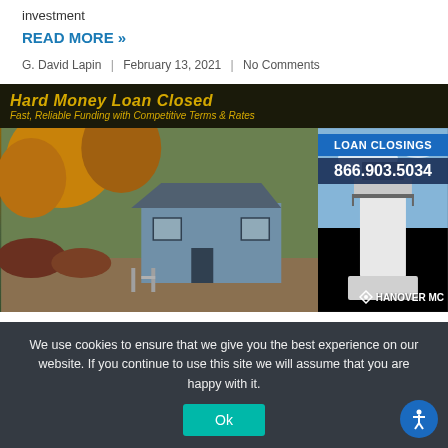investment
READ MORE »
G. David Lapin  |  February 13, 2021  |  No Comments
[Figure (photo): Hard Money Loan Closed banner image with a house photo on the left, a lighthouse/Hanover MC logo on the right, and a LOAN CLOSINGS badge with phone number 866.903.5034. Text reads: Hard Money Loan Closed, Fast, Reliable Funding with Competitive Terms & Rates]
We use cookies to ensure that we give you the best experience on our website. If you continue to use this site we will assume that you are happy with it.